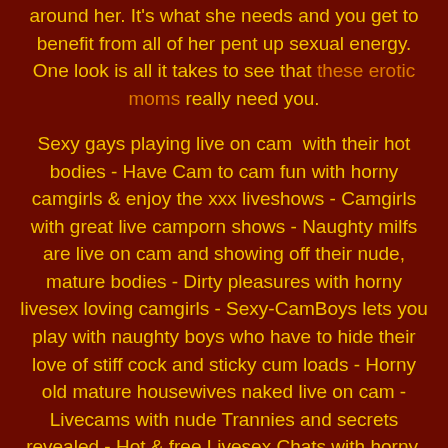around her. It's what she needs and you get to benefit from all of her pent up sexual energy. One look is all it takes to see that these erotic moms really need you.
Sexy gays playing live on cam  with their hot bodies - Have Cam to cam fun with horny camgirls & enjoy the xxx liveshows - Camgirls with great live camporn shows - Naughty milfs are live on cam and showing off their nude, mature bodies - Dirty pleasures with horny livesex loving camgirls - Sexy-CamBoys lets you play with naughty boys who have to hide their love of stiff cock and sticky cum loads - Horny old mature housewives naked live on cam - Livecams with nude Trannies and secrets revealed - Hot & free Livesex Chats with horny, nude amateurs cam 2 cam - Real nude amateur Camgirls showing everything on cam -